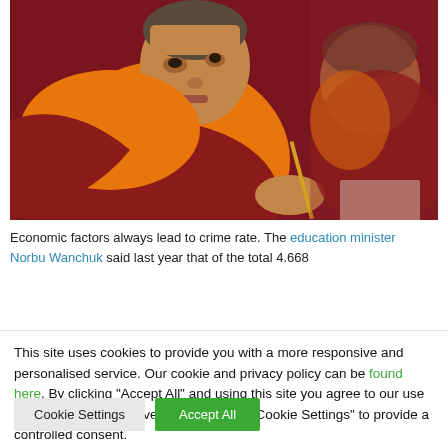[Figure (photo): Young Buddhist monk in orange and red robes holding a writing implement, with other monks in the background]
Economic factors always lead to crime rate. The education minister Norbu Wanchuk said last year that of the total 4,668
This site uses cookies to provide you with a more responsive and personalised service. Our cookie and privacy policy can be found here. By clicking "Accept All" and using this site you agree to our use of ALL cookies. However, you may visit "Cookie Settings" to provide a controlled consent.